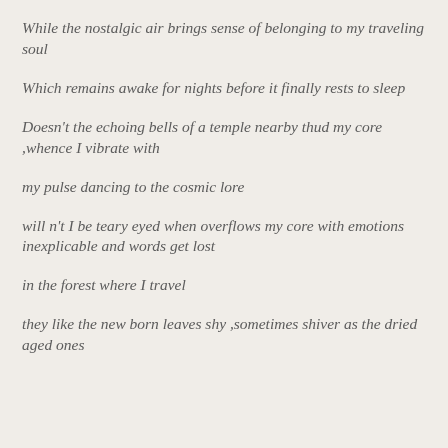While the nostalgic air brings sense of belonging to my traveling soul
Which remains awake for nights before it finally rests to sleep
Doesn't the echoing bells of a temple nearby thud my core ,whence I vibrate with
my pulse dancing to the cosmic lore
will n't I be teary eyed when overflows my core with emotions inexplicable and words get lost
in the forest where I travel
they like the new born leaves shy ,sometimes shiver as the dried aged ones